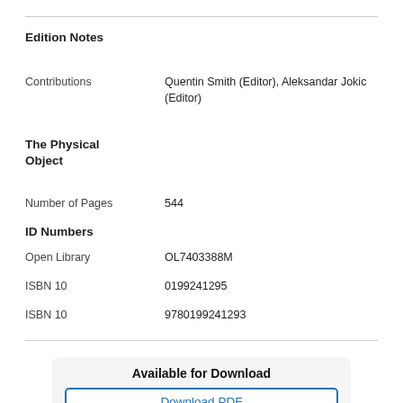Edition Notes
Contributions	Quentin Smith (Editor), Aleksandar Jokic (Editor)
The Physical Object
Number of Pages	544
ID Numbers
Open Library	OL7403388M
ISBN 10	0199241295
ISBN 10	9780199241293
Available for Download
Download PDF